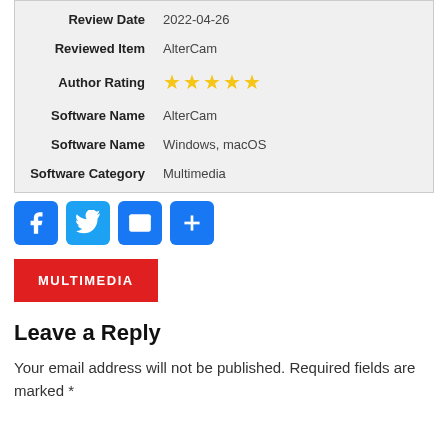| Label | Value |
| --- | --- |
| Review Date | 2022-04-26 |
| Reviewed Item | AlterCam |
| Author Rating | ★★★★★ |
| Software Name | AlterCam |
| Software Name | Windows, macOS |
| Software Category | Multimedia |
[Figure (other): Social sharing buttons: Facebook, Twitter, Email, Share+]
MULTIMEDIA
Leave a Reply
Your email address will not be published. Required fields are marked *